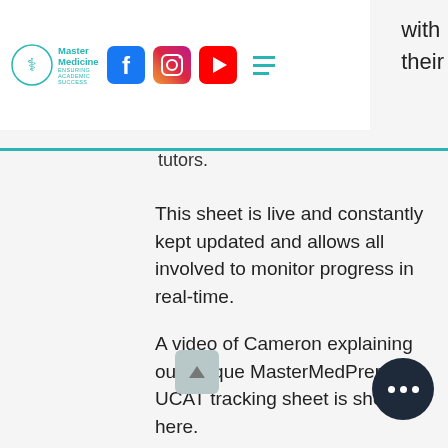Master Medicine — Ensuring Academic Success [navigation bar with Facebook, Instagram, YouTube icons and hamburger menu]
tutors.
This sheet is live and constantly kept updated and allows all involved to monitor progress in real-time.
A video of Cameron explaining our unique MasterMedPrep UCAT tracking sheet is shown here.